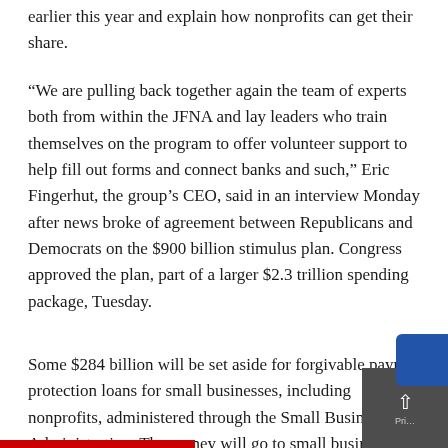earlier this year and explain how nonprofits can get their share.
“We are pulling back together again the team of experts both from within the JFNA and lay leaders who train themselves on the program to offer volunteer support to help fill out forms and connect banks and such,” Eric Fingerhut, the group’s CEO, said in an interview Monday after news broke of agreement between Republicans and Democrats on the $900 billion stimulus plan. Congress approved the plan, part of a larger $2.3 trillion spending package, Tuesday.
Some $284 billion will be set aside for forgivable payroll protection loans for small businesses, including nonprofits, administered through the Small Business Administration. The money will go to small busine…